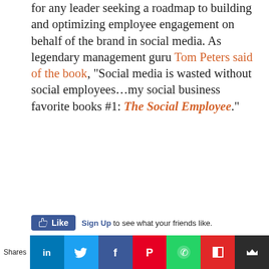for any leader seeking a roadmap to building and optimizing employee engagement on behalf of the brand in social media. As legendary management guru Tom Peters said of the book, “Social media is wasted without social employees…my social business favorite books #1: The Social Employee.”
[Figure (screenshot): Facebook Like button widget with Sign Up link text: 'Sign Up to see what your friends like.']
You may also like:
[Figure (photo): Social media app icons including Facebook and LinkedIn on a phone/tablet screen]
[Figure (photo): Hand holding a smartphone showing social media app icons]
Will Clubhouse be the
A 10 Step Guide To
[Figure (infographic): Social share bar with Shares label and buttons for LinkedIn, Twitter, Facebook, Pinterest, WhatsApp, Flipboard, Mix]